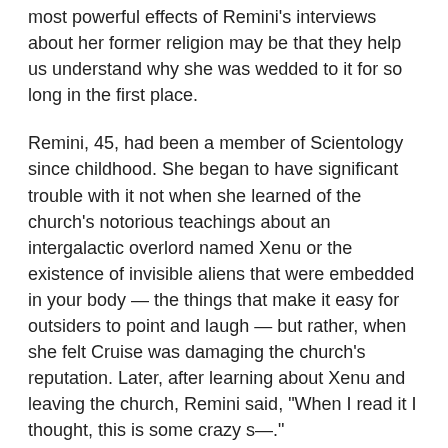most powerful effects of Remini's interviews about her former religion may be that they help us understand why she was wedded to it for so long in the first place.
Remini, 45, had been a member of Scientology since childhood. She began to have significant trouble with it not when she learned of the church's notorious teachings about an intergalactic overlord named Xenu or the existence of invisible aliens that were embedded in your body — the things that make it easy for outsiders to point and laugh — but rather, when she felt Cruise was damaging the church's reputation. Later, after learning about Xenu and leaving the church, Remini said, "When I read it I thought, this is some crazy s—."
Remini left the church in 2013, and she has said previously that she did so because she didn't want her daughter Sofia to have to make a choice between her family and Scientology. When a person leaves Scientology and their family members stay, the family is often encouraged to "disconnect" from the offending nonbeliever. When Remini left, her mother, sister and husband left with her.